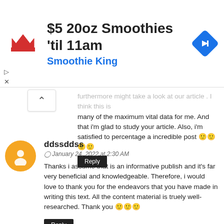[Figure (screenshot): Advertisement banner for Smoothie King: '$5 20oz Smoothies 'til 11am' with Smoothie King logo and a blue navigation arrow icon]
furthermore might take a look at our article . I think this is many of the maximum vital data for me. And that i'm glad to study your article. Also, i'm satisfied to percentage a incredible post 🙂🙂🙂🙂
Reply
ddssddss
January 24, 2022 at 2:30 AM
Thanks i assume that is an informative publish and it's far very beneficial and knowledgeable. Therefore, i would love to thank you for the endeavors that you have made in writing this text. All the content material is truely well-researched. Thank you 🙂🙂🙂
Reply
Oliver Regins
January 24, 2022 at 4:29 AM